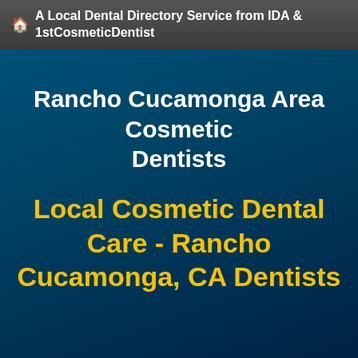🏠 A Local Dental Directory Service from IDA & 1stCosmeticDentist
Rancho Cucamonga Area Cosmetic Dentists
Local Cosmetic Dental Care - Rancho Cucamonga, CA Dentists